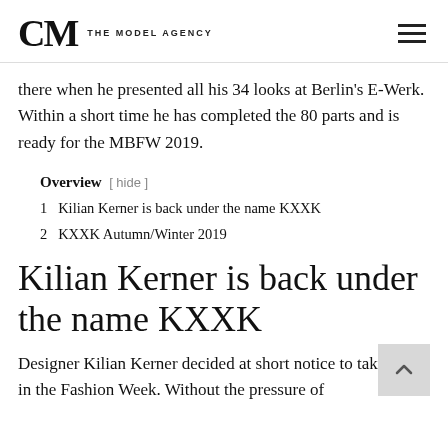CM THE MODEL AGENCY
there when he presented all his 34 looks at Berlin's E-Werk. Within a short time he has completed the 80 parts and is ready for the MBFW 2019.
Overview [ hide ]
1  Kilian Kerner is back under the name KXXK
2  KXXK Autumn/Winter 2019
Kilian Kerner is back under the name KXXK
Designer Kilian Kerner decided at short notice to take part in the Fashion Week. Without the pressure of